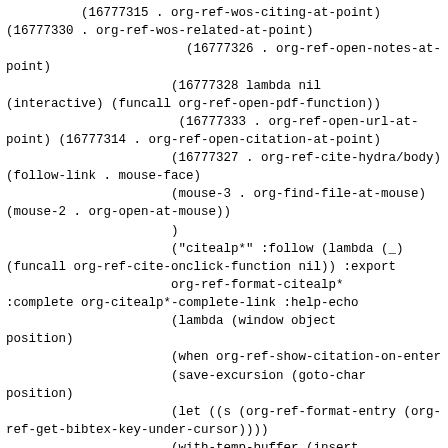(16777315 . org-ref-wos-citing-at-point) (16777330 . org-ref-wos-related-at-point)
                        (16777326 . org-ref-open-notes-at-point)
                        (16777328 lambda nil
(interactive) (funcall org-ref-open-pdf-function))
                         (16777333 . org-ref-open-url-at-point) (16777314 . org-ref-open-citation-at-point)
                        (16777327 . org-ref-cite-hydra/body) (follow-link . mouse-face)
                        (mouse-3 . org-find-file-at-mouse) (mouse-2 . org-open-at-mouse))
                        )
                        ("citealp*" :follow (lambda (_)
(funcall org-ref-cite-onclick-function nil)) :export
                        org-ref-format-citealp*
:complete org-citealp*-complete-link :help-echo
                        (lambda (window object
position)
                        (when org-ref-show-citation-on-enter
                        (save-excursion (goto-char
position)
                        (let ((s (org-ref-format-entry (org-ref-get-bibtex-key-under-cursor))))
                        (with-temp-buffer (insert
s) (fill-paragraph) (buffer-string)))
                        )
                        )